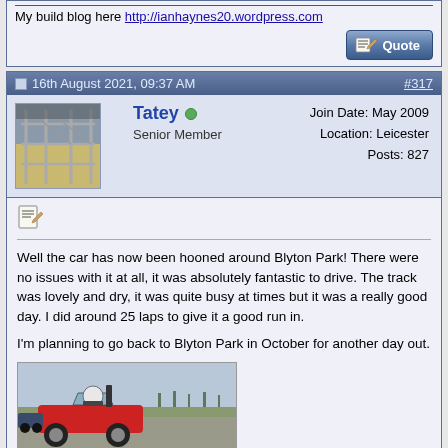My build blog here http://ianhaynes20.wordpress.com
[Figure (screenshot): Quote button with pen/paper icon]
16th August 2021, 09:37 AM  #317
[Figure (photo): Avatar photo showing car frame/chassis in workshop]
Tatey  Senior Member  Join Date: May 2009  Location: Leicester  Posts: 827
[Figure (screenshot): Post icon (notepad/pencil)]
Well the car has now been hooned around Blyton Park! There were no issues with it at all, it was absolutely fantastic to drive. The track was lovely and dry, it was quite busy at times but it was a really good day. I did around 25 laps to give it a good run in.

I'm planning to go back to Blyton Park in October for another day out.
[Figure (photo): Photo of a red open-top sports car (kit car) on a track at Blyton Park with a driver inside, flat countryside in background]